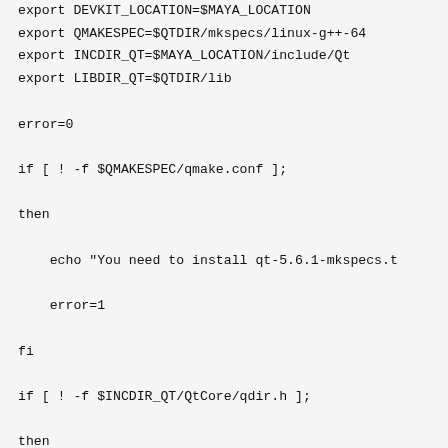export DEVKIT_LOCATION=$MAYA_LOCATION
export QMAKESPEC=$QTDIR/mkspecs/linux-g++-64
export INCDIR_QT=$MAYA_LOCATION/include/Qt
export LIBDIR_QT=$QTDIR/lib

error=0

if [ ! -f $QMAKESPEC/qmake.conf ];

then

    echo "You need to install qt-5.6.1-mkspecs.t

    error=1

fi

if [ ! -f $INCDIR_QT/QtCore/qdir.h ];

then

    echo "You need to uncompress $MAYA_LOCATION/

include.tar.gz in $INCDIR_QT !"

    error=1